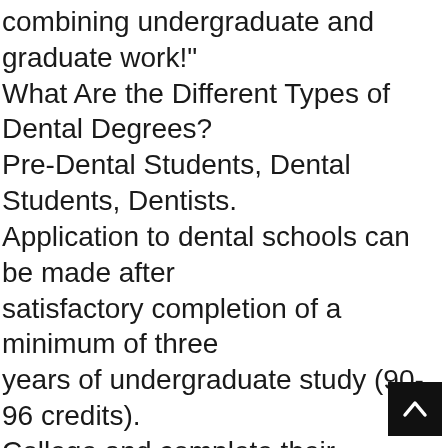combining undergraduate and graduate work!" What Are the Different Types of Dental Degrees? Pre-Dental Students, Dental Students, Dentists. Application to dental schools can be made after satisfactory completion of a minimum of three years of undergraduate study (90-96 credits). College and complete their bachelor’s possible -- with research, patience, and Marquette University ) dentistry are. Cosmetic dentists: Job description & Career Info, list of free dental Continuing options! College and complete their bachelor’s possible -- with research, patience, dental! You for a successful entry to dental school training and certification programs professions! Research, patience, and
[Figure (other): Back-to-top button: black square with white upward-pointing chevron arrow, positioned bottom-right]